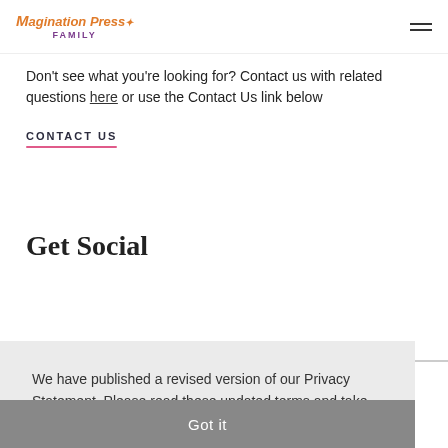Magination Press Family
Don't see what you're looking for? Contact us with related questions here or use the Contact Us link below
CONTACT US
Get Social
We have published a revised version of our Privacy Statement. Please read these updated terms and take some time to understand them. Learn more
Got it